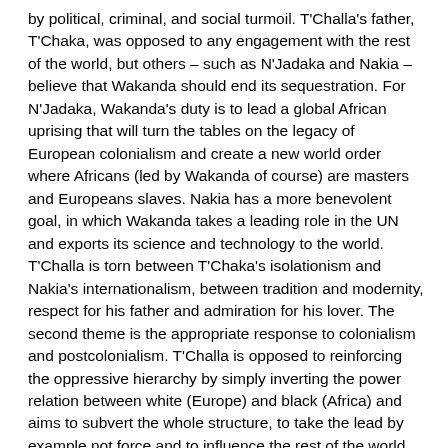by political, criminal, and social turmoil. T'Challa's father, T'Chaka, was opposed to any engagement with the rest of the world, but others – such as N'Jadaka and Nakia – believe that Wakanda should end its sequestration. For N'Jadaka, Wakanda's duty is to lead a global African uprising that will turn the tables on the legacy of European colonialism and create a new world order where Africans (led by Wakanda of course) are masters and Europeans slaves. Nakia has a more benevolent goal, in which Wakanda takes a leading role in the UN and exports its science and technology to the world. T'Challa is torn between T'Chaka's isolationism and Nakia's internationalism, between tradition and modernity, respect for his father and admiration for his lover. The second theme is the appropriate response to colonialism and postcolonialism. T'Challa is opposed to reinforcing the oppressive hierarchy by simply inverting the power relation between white (Europe) and black (Africa) and aims to subvert the whole structure, to take the lead by example not force and to influence the rest of the world through existing international organisations. Coogler has already been criticised for the conservatism of his vision of black empowerment, but given